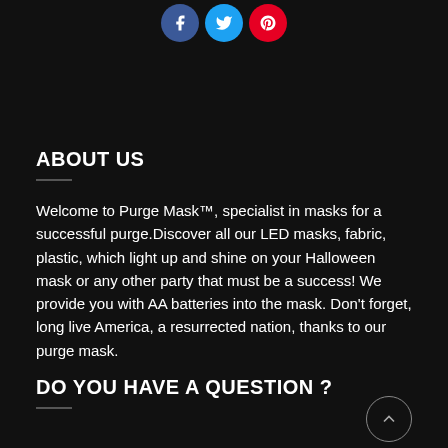[Figure (other): Social media share icons: Facebook (blue), Twitter (light blue), Pinterest (red) as circular buttons at the top center]
ABOUT US
Welcome to Purge Mask™, specialist in masks for a successful purge.Discover all our LED masks, fabric, plastic, which light up and shine on your Halloween mask or any other party that must be a success! We provide you with AA batteries into the mask. Don't forget, long live America, a resurrected nation, thanks to our purge mask.
DO YOU HAVE A QUESTION ?